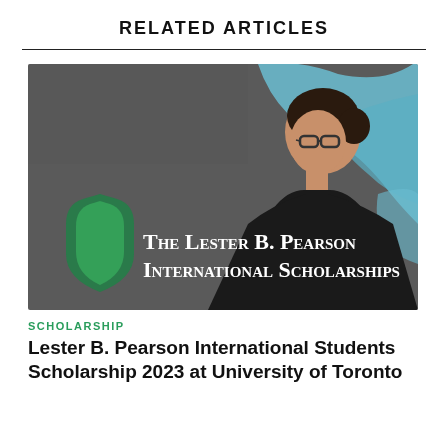RELATED ARTICLES
[Figure (photo): Promotional image for The Lester B. Pearson International Scholarships featuring a young woman with glasses in profile on a dark gray background with blue paint splash, and a green shield logo with white text overlay.]
SCHOLARSHIP
Lester B. Pearson International Students Scholarship 2023 at University of Toronto